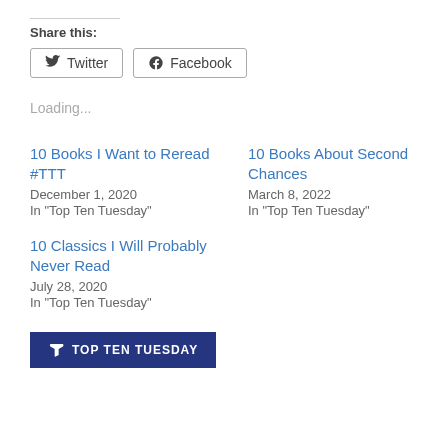Share this:
Twitter  Facebook
Loading...
10 Books I Want to Reread #TTT
December 1, 2020
In "Top Ten Tuesday"
10 Books About Second Chances
March 8, 2022
In "Top Ten Tuesday"
10 Classics I Will Probably Never Read
July 28, 2020
In "Top Ten Tuesday"
TOP TEN TUESDAY